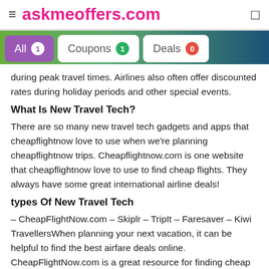≡ askmeoffers.com
All 1  Coupons 1  Deals 0
during peak travel times. Airlines also often offer discounted rates during holiday periods and other special events.
What Is New Travel Tech?
There are so many new travel tech gadgets and apps that cheapflightnow love to use when we're planning cheapflightnow trips. Cheapflightnow.com is one website that cheapflightnow love to use to find cheap flights. They always have some great international airline deals!
types Of New Travel Tech
– CheapFlightNow.com – Skiplr – TripIt – Faresaver – Kiwi TravellersWhen planning your next vacation, it can be helpful to find the best airfare deals online. CheapFlightNow.com is a great resource for finding cheap flights, no matter where you are going. Here are some of the latest travel tech innovations